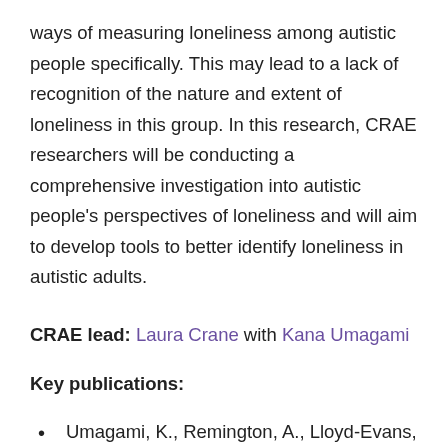ways of measuring loneliness among autistic people specifically. This may lead to a lack of recognition of the nature and extent of loneliness in this group. In this research, CRAE researchers will be conducting a comprehensive investigation into autistic people's perspectives of loneliness and will aim to develop tools to better identify loneliness in autistic adults.
CRAE lead: Laura Crane with Kana Umagami
Key publications:
Umagami, K., Remington, A., Lloyd-Evans, B., Davies, J., & Crane, L. (2022). Loneliness in